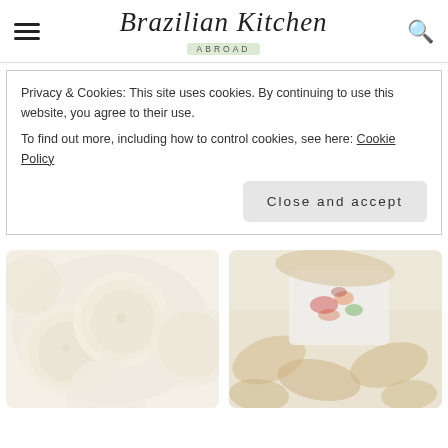Brazilian Kitchen Abroad
Privacy & Cookies: This site uses cookies. By continuing to use this website, you agree to their use.
To find out more, including how to control cookies, see here: Cookie Policy
Close and accept
[Figure (photo): Overhead view of round white Brazilian cheese buns (pão de queijo), faded/blurred, on a light background]
[Figure (photo): Brazilian salgados (coxinha/fried snacks) arranged on a plate with a small white dish of colorful salsa/vinagrete topping, faded/blurred]